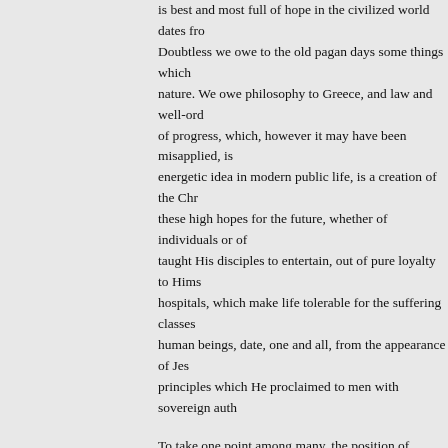is best and most full of hope in the civilized world dates fro. Doubtless we owe to the old pagan days some things which nature. We owe philosophy to Greece, and law and well-ord of progress, which, however it may have been misapplied, is energetic idea in modern public life, is a creation of the Chr these high hopes for the future, whether of individuals or of taught His disciples to entertain, out of pure loyalty to Hims hospitals, which make life tolerable for the suffering classes human beings, date, one and all, from the appearance of Jes principles which He proclaimed to men with sovereign auth
To take one point among many, the position of women in Ch traceable, not only to our Lord's teaching, but to the circums came, woman, even in Israel, was little better than the slave as in Eastern countries now, she was a slave, to all intents ar woman of great force of character, joined to hereditary adva chronic oppression; she might become a Deborah, a Semira a Zenobia; she might control the world, or at least its rulers. women was a suffering and degraded one. Now, when Chris man, He did not abhor the Virgin's womb. In the greatest ev human history the stronger sex had no part whatever. The Im the Holy Ghost, and born of the Virgin Mary. And therefore position of consideration unknown before. Nothing was forf modesty and grace of woman's nature, but the larger share c destinies of the Christian races, was secured to her in perpet